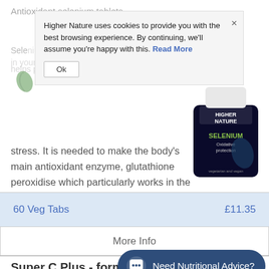Antioxidant selenium tablets
stress. It is needed to make the body's main antioxidant enzyme, glutathione peroxidise which particularly works in the liver.
[Figure (photo): Higher Nature Selenium product bottle with dark label showing 'SELENIUM Oxidative protection', vegetarian and vegan text at bottom]
| 60 Veg Tabs | £11.35 |
| --- | --- |
More Info
Super C Plus - formerly (Micro C 1% Vitamin C & Bioflavonoids)
Higher Nature uses cookies to provide you with the best browsing experience. By continuing, we'll assume you're happy with this. Read More